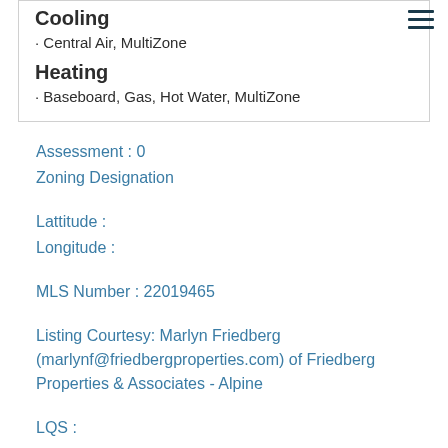Cooling
· Central Air, MultiZone
Heating
· Baseboard, Gas, Hot Water, MultiZone
Assessment : 0
Zoning Designation
Lattitude :
Longitude :
MLS Number : 22019465
Listing Courtesy: Marlyn Friedberg (marlynf@friedbergproperties.com) of Friedberg Properties & Associates - Alpine
LQS :